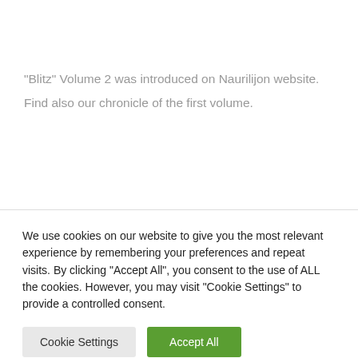"Blitz" Volume 2 was introduced on Naurilijon website.
Find also our chronicle of the first volume.
We use cookies on our website to give you the most relevant experience by remembering your preferences and repeat visits. By clicking “Accept All”, you consent to the use of ALL the cookies. However, you may visit "Cookie Settings" to provide a controlled consent.